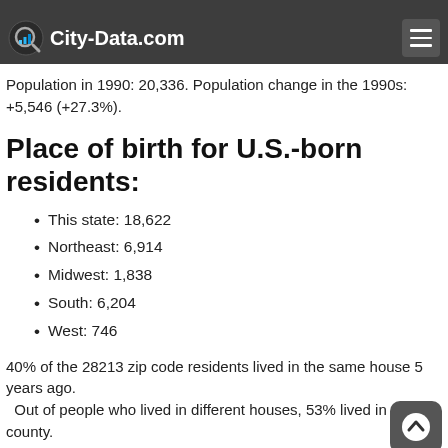City-Data.com
Population in 1990: 20,336. Population change in the 1990s: +5,546 (+27.3%).
Place of birth for U.S.-born residents:
This state: 18,622
Northeast: 6,914
Midwest: 1,838
South: 6,204
West: 746
40% of the 28213 zip code residents lived in the same house 5 years ago.
  Out of people who lived in different houses, 53% lived in this county.